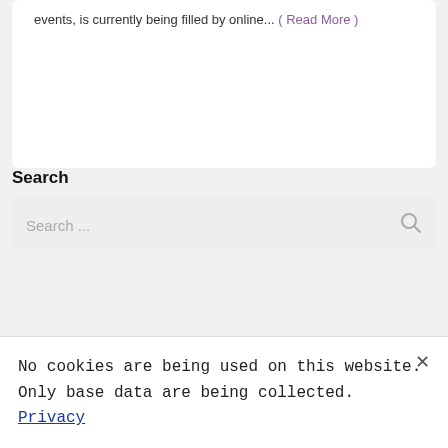events, is currently being filled by online... ( Read More )
Search
Search...
No cookies are being used on this website. Only base data are being collected. Privacy